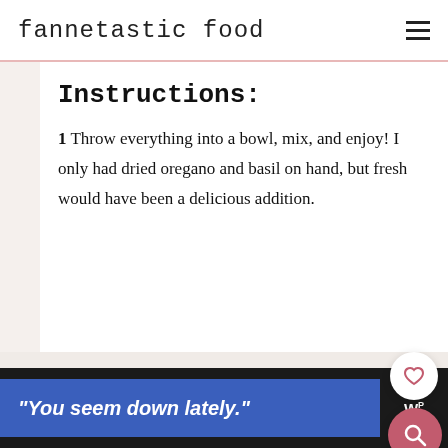fannetastic food
Instructions:
1 Throw everything into a bowl, mix, and enjoy! I only had dried oregano and basil on hand, but fresh would have been a delicious addition.
[Figure (infographic): Instagram icon with text 'Did you make this recipe?']
"You seem down lately."